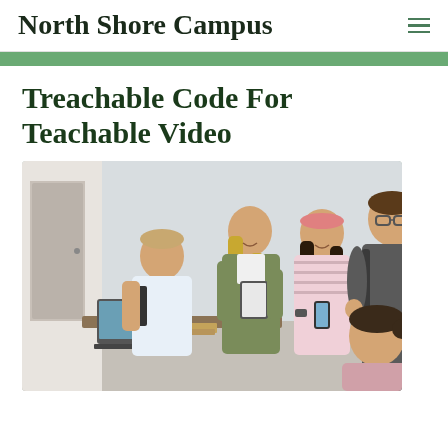North Shore Campus
Treachable Code For Teachable Video
[Figure (photo): Group of college students gathered around a desk in a classroom setting; one male student seated at a laptop, two female students standing looking at a tablet, one male student standing with a backpack, one female student seated in the foreground with blue chairs visible in background.]